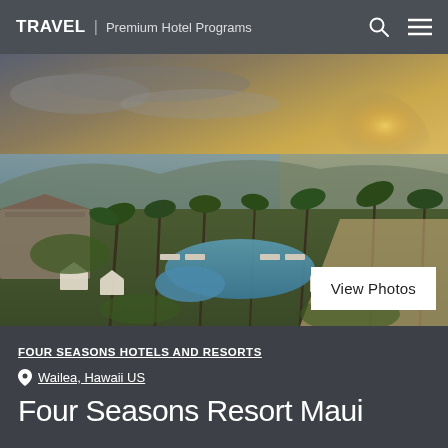TRAVEL | Premium Hotel Programs
[Figure (photo): Aerial sunset view of Four Seasons Resort Maui showing pool area, palm trees, and ocean in the background]
View Photos
FOUR SEASONS HOTELS AND RESORTS
Wailea, Hawaii US
Four Seasons Resort Maui